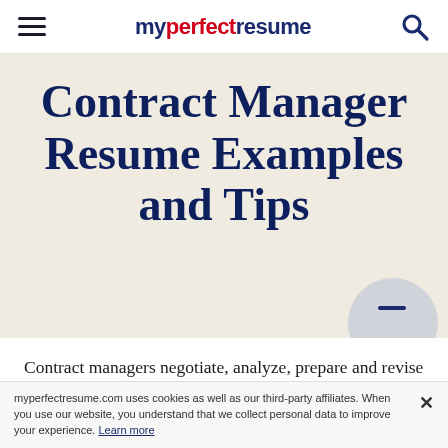myperfectresume
Contract Manager Resume Examples and Tips
Contract managers negotiate, analyze, prepare and revise contracts related to the sale and purchase of products or services, coverin
myperfectresume.com uses cookies as well as our third-party affiliates. When you use our website, you understand that we collect personal data to improve your experience. Learn more